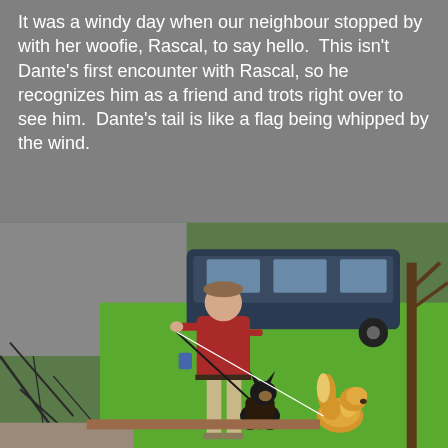It was a windy day when our neighbour stopped by with her woofie, Rascal, to say hello.  This isn't Dante's first encounter with Rascal, so he recognizes him as a friend and trots right over to see him.  Dante's tail is like a flag being whipped by the wind.
[Figure (photo): A person in a red sweater and khaki pants holds a leash connected to a dark German Shepherd-type dog sitting on a green lawn. A fluffy golden/cream colored small dog stands nearby. In the background there is a dark blue minivan parked on a street and bare tree branches are visible in the foreground.]
Unfortunately, this time Rascal wasn't as amenable and let out a loud bark.  Dante just stopped and reversed his course, and slowly and calmly retreated.  He was a little sad that